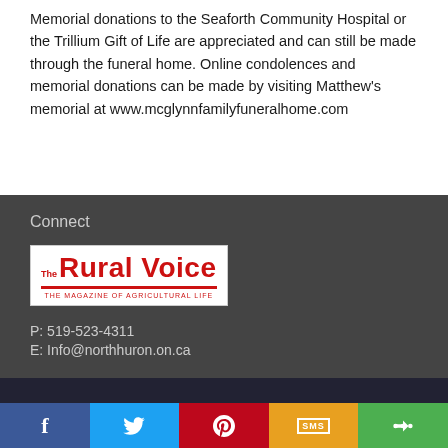Memorial donations to the Seaforth Community Hospital or the Trillium Gift of Life are appreciated and can still be made through the funeral home. Online condolences and memorial donations can be made by visiting Matthew's memorial at www.mcglynnfamilyfuneralhome.com
Connect
[Figure (logo): The Rural Voice logo — red text on white background with red underline bar and tagline 'The Magazine of Agricultural Life']
P:  519-523-4311
E:  Info@northhuron.on.ca
Social share bar: Facebook, Twitter, Pinterest, SMS, Share